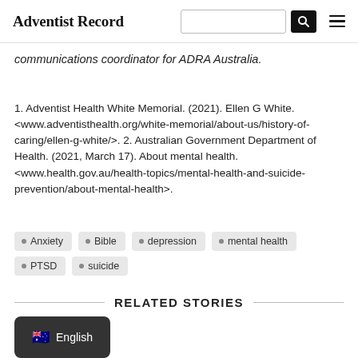Adventist Record
communications coordinator for ADRA Australia.
1. Adventist Health White Memorial. (2021). Ellen G White. <www.adventisthealth.org/white-memorial/about-us/history-of-caring/ellen-g-white/>. 2. Australian Government Department of Health. (2021, March 17). About mental health. <www.health.gov.au/health-topics/mental-health-and-suicide-prevention/about-mental-health>.
Anxiety
Bible
depression
mental health
PTSD
suicide
RELATED STORIES
English